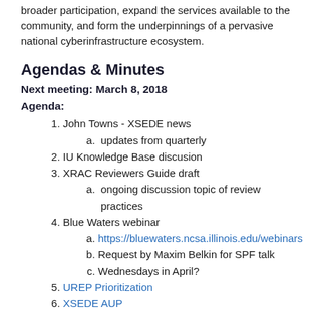broader participation, expand the services available to the community, and form the underpinnings of a pervasive national cyberinfrastructure ecosystem.
Agendas & Minutes
Next meeting: March 8, 2018
Agenda:
1. John Towns - XSEDE news
a. updates from quarterly
2. IU Knowledge Base discusion
3. XRAC Reviewers Guide draft
a. ongoing discussion topic of review practices
4. Blue Waters webinar
a. https://bluewaters.ncsa.illinois.edu/webinars
b. Request by Maxim Belkin for SPF talk
c. Wednesdays in April?
5. UREP Prioritization
6. XSEDE AUP
7. SP Coordination update - Victor
8. SP Forum web presence